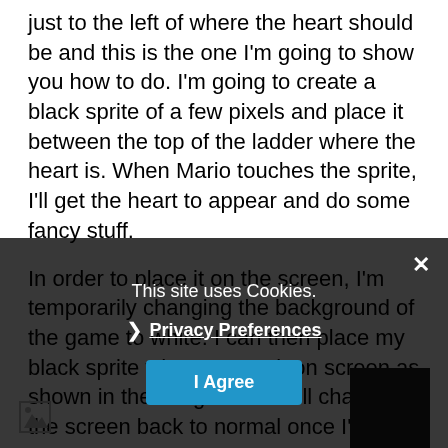just to the left of where the heart should be and this is the one I'm going to show you how to do. I'm going to create a black sprite of a few pixels and place it between the top of the ladder where the heart is. When Mario touches the sprite, I'll get the heart to appear and do some fancy stuff.
In order to place it on the screen, I'm temporarily changing the background of the game to white. I can then place my black sprite where I want it on screen as shown in the image below. I'll change the screen back to normal once I've finished with a little bit of programming.
[Figure (screenshot): Cookie consent overlay popup with dark background, showing 'This site uses Cookies.' text, Privacy Preferences link, and I Agree button. An X close button is at top right.]